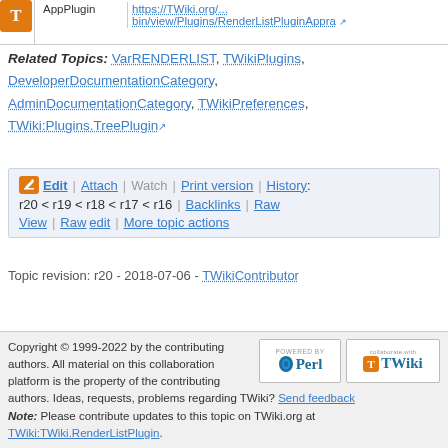| AppPlugin | URL |
| --- | --- |
| AppPlugin | https://TWiki.org/.../bin/view/Plugins/RenderListPluginAppra... |
Related Topics: VarRENDERLIST, TWikiPlugins, DeveloperDocumentationCategory, AdminDocumentationCategory, TWikiPreferences, TWiki:Plugins.TreePlugin
Edit | Attach | Watch | Print version | History: r20 < r19 < r18 < r17 < r16 | Backlinks | Raw View | Raw edit | More topic actions
Topic revision: r20 - 2018-07-06 - TWikiContributor
Copyright © 1999-2022 by the contributing authors. All material on this collaboration platform is the property of the contributing authors. Ideas, requests, problems regarding TWiki? Send feedback Note: Please contribute updates to this topic on TWiki.org at TWiki:TWiki.RenderListPlugin.